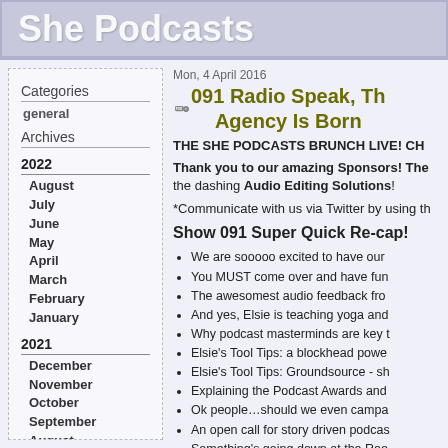She Podcasts
Categories
general
Archives
2022
August
July
June
May
April
March
February
January
2021
December
November
October
September
August
Mon, 4 April 2016
091 Radio Speak, Th Agency Is Born
THE SHE PODCASTS BRUNCH LIVE! CH
Thank you to our amazing Sponsors! The the dashing Audio Editing Solutions!
*Communicate with us via Twitter by using th
Show 091 Super Quick Re-cap!
We are sooooo excited to have our
You MUST come over and have fun
The awesomest audio feedback fro
And yes, Elsie is teaching yoga and
Why podcast masterminds are key t
Elsie's Tool Tips: a blockhead powe
Elsie's Tool Tips: Groundsource - sh
Explaining the Podcast Awards and
Ok people…should we even campa
An open call for story driven podcas
Something's going down at the Roo
Libsyn has some super cool new fe
Audible. Racy then the product bl